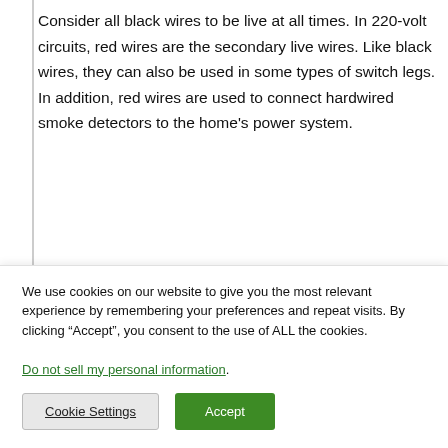Consider all black wires to be live at all times. In 220-volt circuits, red wires are the secondary live wires. Like black wires, they can also be used in some types of switch legs. In addition, red wires are used to connect hardwired smoke detectors to the home's power system.
Which is the hot wire black or red?
In the standard wire color code, the hot wire in
We use cookies on our website to give you the most relevant experience by remembering your preferences and repeat visits. By clicking “Accept”, you consent to the use of ALL the cookies.
Do not sell my personal information.